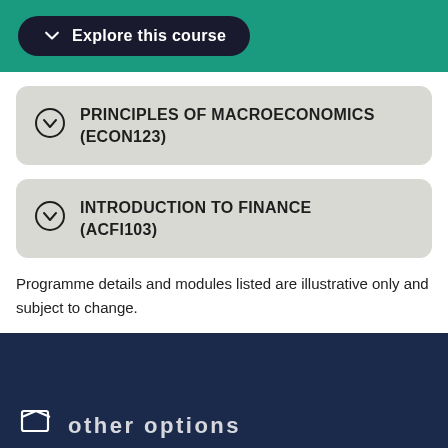Explore this course
PRINCIPLES OF MACROECONOMICS (ECON123)
INTRODUCTION TO FINANCE (ACFI103)
Programme details and modules listed are illustrative only and subject to change.